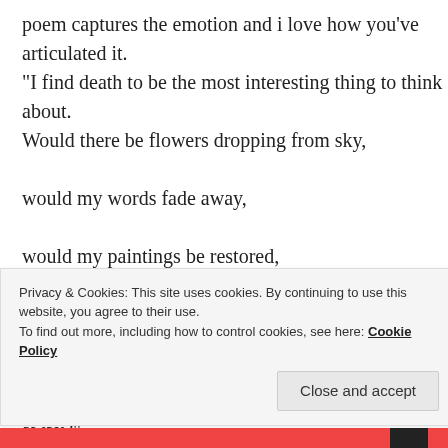poem captures the emotion and i love how you've articulated it.
“I find death to be the most interesting thing to think about.
Would there be flowers dropping from sky,
would my words fade away,
would my paintings be restored,
would there be angels coming from heaven to carry me to their place,
would there be people to cry after I’m gone, gone far away?”
this stanza 😍🤔
Privacy & Cookies: This site uses cookies. By continuing to use this website, you agree to their use.
To find out more, including how to control cookies, see here: Cookie Policy
Close and accept